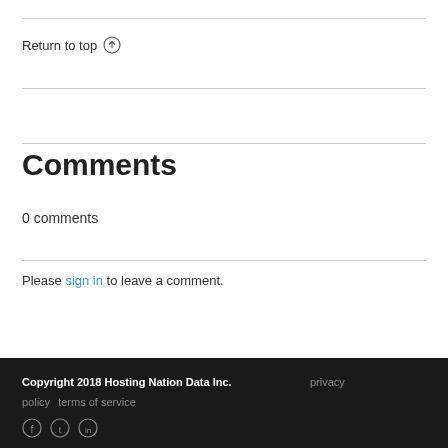Return to top ↑
Comments
0 comments
Please sign in to leave a comment.
Copyright 2018 Hosting Nation Data Inc.   privacy   policy   terms of service